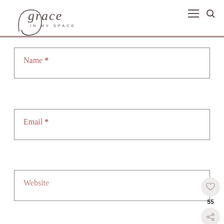grace IN MY SPACE
Name *
Email *
Website
POST COMMENT
55